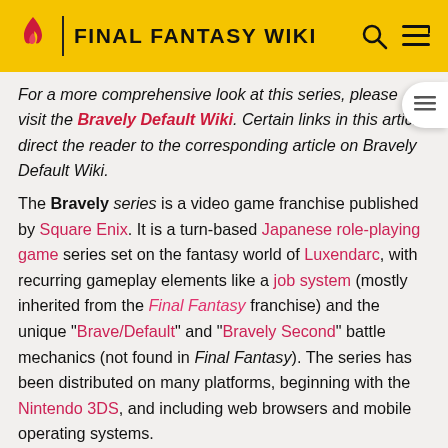FINAL FANTASY WIKI
For a more comprehensive look at this series, please visit the Bravely Default Wiki. Certain links in this article direct the reader to the corresponding article on Bravely Default Wiki.
The Bravely series is a video game franchise published by Square Enix. It is a turn-based Japanese role-playing game series set on the fantasy world of Luxendarc, with recurring gameplay elements like a job system (mostly inherited from the Final Fantasy franchise) and the unique "Brave/Default" and "Bravely Second" battle mechanics (not found in Final Fantasy). The series has been distributed on many platforms, beginning with the Nintendo 3DS, and including web browsers and mobile operating systems.